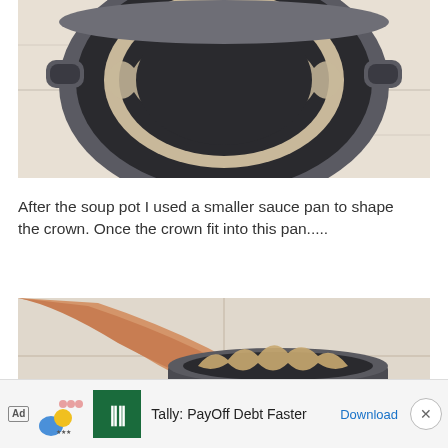[Figure (photo): Top-down view of a large dark soup pot placed on a light tile floor, with a wavy-edged cardboard or paper crown shape visible inside the pot.]
After the soup pot I used a smaller sauce pan to shape the crown. Once the crown fit into this pan.....
[Figure (photo): A person's arm reaching down to place or press a cardboard crown shape into a smaller dark sauce pan on a tile floor.]
[Figure (other): Advertisement banner: Ad label, Tally app icon, text 'Tally: PayOff Debt Faster', Download link, close button.]